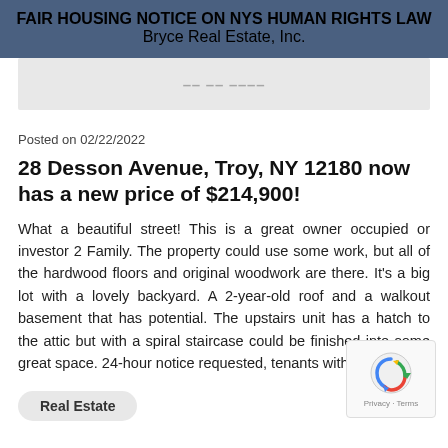FAIR HOUSING NOTICE ON NYS HUMAN RIGHTS LAW
Bryce Real Estate, Inc.
[Figure (screenshot): Partially visible banner/content strip, text cut off, gray background]
Posted on 02/22/2022
28 Desson Avenue, Troy, NY 12180 now has a new price of $214,900!
What a beautiful street! This is a great owner occupied or investor 2 Family. The property could use some work, but all of the hardwood floors and original woodwork are there. It's a big lot with a lovely backyard. A 2-year-old roof and a walkout basement that has potential. The upstairs unit has a hatch to the attic but with a spiral staircase could be finished into some great space. 24-hour notice requested, tenants with...
Real Estate